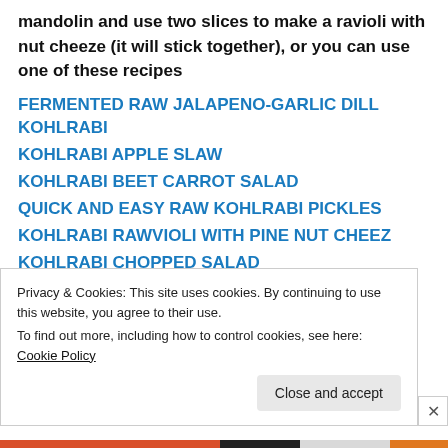mandolin and use two slices to make a ravioli with nut cheeze (it will stick together), or you can use one of these recipes
FERMENTED RAW JALAPENO-GARLIC DILL KOHLRABI
KOHLRABI APPLE SLAW
KOHLRABI BEET CARROT SALAD
QUICK AND EASY RAW KOHLRABI PICKLES
KOHLRABI RAWVIOLI WITH PINE NUT CHEEZ
KOHLRABI CHOPPED SALAD
WHAT TO DO WITH KOHLRABI LEAVES
Privacy & Cookies: This site uses cookies. By continuing to use this website, you agree to their use.
To find out more, including how to control cookies, see here: Cookie Policy